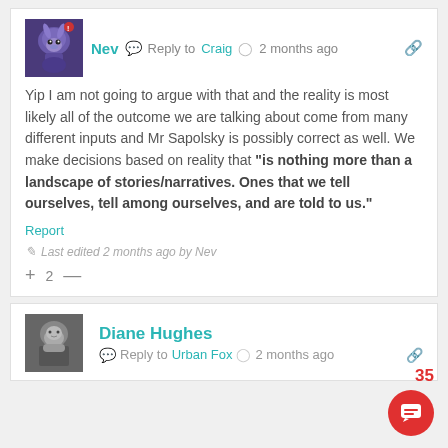[Figure (photo): Avatar image of user Nev - blue/purple stylized character]
Nev  Reply to  Craig  2 months ago
Yip I am not going to argue with that and the reality is most likely all of the outcome we are talking about come from many different inputs and Mr Sapolsky is possibly correct as well. We make decisions based on reality that “is nothing more than a landscape of stories/narratives. Ones that we tell ourselves, tell among ourselves, and are told to us.”
Report
Last edited 2 months ago by Nev
+ 2 —
[Figure (photo): Avatar image of user Diane Hughes - person in black and white photo]
Diane Hughes  Reply to  Urban Fox  2 months ago